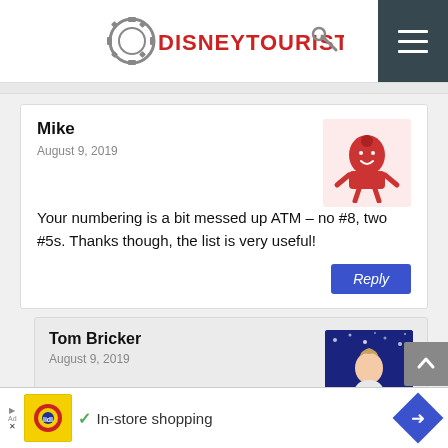DISNEYTOURISTBLOG
Mike
August 9, 2019
Your numbering is a bit messed up ATM – no #8, two #5s. Thanks though, the list is very useful!
Tom Bricker
August 9, 2019
Thanks for the heads up–it's fixed now!
In-store shopping